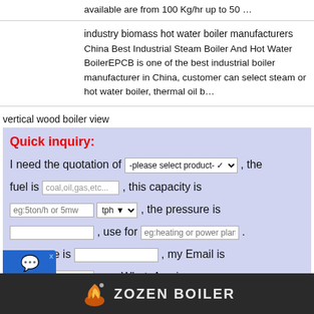available are from 100 Kg/hr up to 50 …
industry biomass hot water boiler manufacturers
China Best Industrial Steam Boiler And Hot Water BoilerEPCB is one of the best industrial boiler manufacturer in China, customer can select steam or hot water boiler, thermal oil b…
vertical wood boiler view
Quick inquiry: I need the quotation of [please select product], the fuel is [coal,oil,gas,etc...], this capacity is [eg:5ton/h or 5mw] tph, the pressure is [], use for [eg:heating or power plant]. my name is [], my Email is [], my WhatsApp is [], Please Send the detail information for me! [submit]
[Figure (logo): ZOZEN BOILER logo with flame icon on dark footer bar]